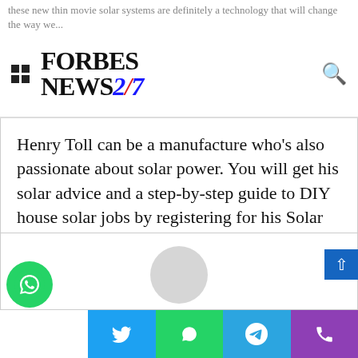Forbes News 247
Henry Toll can be a manufacture who’s also passionate about solar power. You will get his solar advice and a step-by-step guide to DIY house solar jobs by registering for his Solar Energy House net/solar-power-house-newsletter You may also visit his Solar Power Homes website and keep up to date with the latest on earth of residential solar power.
[Figure (screenshot): Bottom section of a Forbes News 247 web page showing a user profile card area, WhatsApp floating button, scroll-to-top arrow, and a social sharing bar with Twitter, WhatsApp, Telegram, and phone icons.]